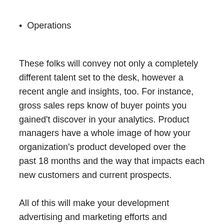Operations
These folks will convey not only a completely different talent set to the desk, however a recent angle and insights, too. For instance, gross sales reps know of buyer points you gained't discover in your analytics. Product managers have a whole image of how your organization's product developed over the past 18 months and the way that impacts each new customers and current prospects.
All of this will make your development advertising and marketing efforts and experiments richer and extra impactful.